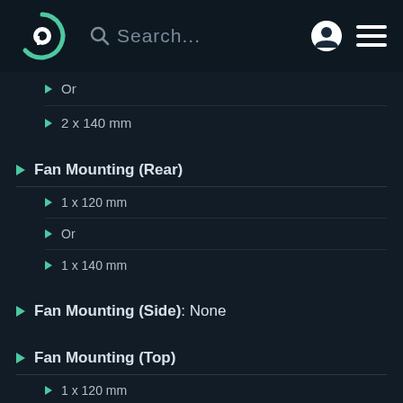[Figure (logo): Circular arrow logo with 'p' letter in green and white on dark background]
Search...
Or
2 x 140 mm
Fan Mounting (Rear)
1 x 120 mm
Or
1 x 140 mm
Fan Mounting (Side) : None
Fan Mounting (Top)
1 x 120 mm
Or
1 x 140 mm
Fan Mounting (Bottom) : None